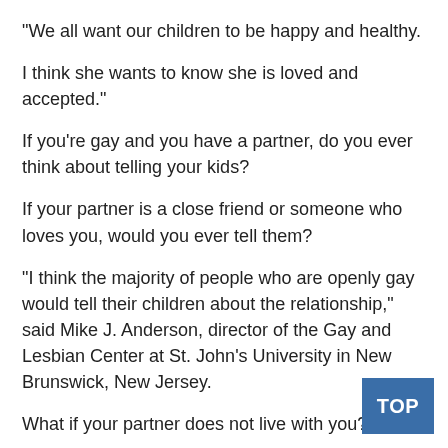“We all want our children to be happy and healthy.
I think she wants to know she is loved and accepted.”
If you’re gay and you have a partner, do you ever think about telling your kids?
If your partner is a close friend or someone who loves you, would you ever tell them?
“I think the majority of people who are openly gay would tell their children about the relationship,” said Mike J. Anderson, director of the Gay and Lesbian Center at St. John’s University in New Brunswick, New Jersey.
What if your partner does not live with you? “
The children will see what a good friend they are and what they are capable of.”